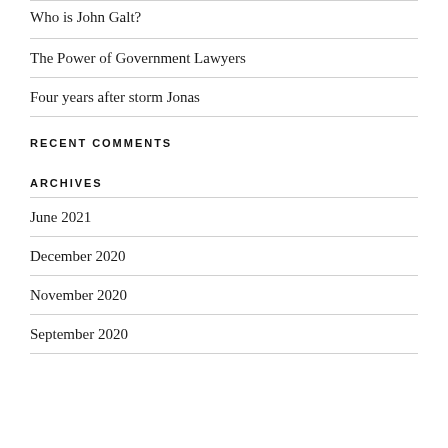Who is John Galt?
The Power of Government Lawyers
Four years after storm Jonas
RECENT COMMENTS
ARCHIVES
June 2021
December 2020
November 2020
September 2020